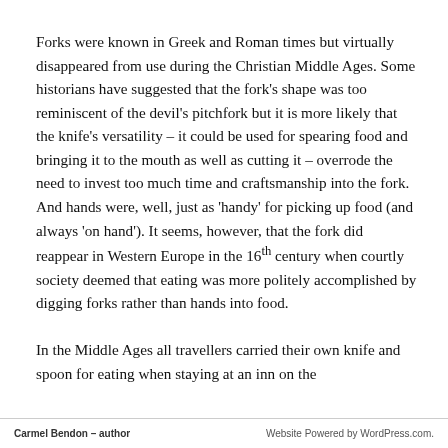Forks were known in Greek and Roman times but virtually disappeared from use during the Christian Middle Ages. Some historians have suggested that the fork's shape was too reminiscent of the devil's pitchfork but it is more likely that the knife's versatility – it could be used for spearing food and bringing it to the mouth as well as cutting it – overrode the need to invest too much time and craftsmanship into the fork. And hands were, well, just as 'handy' for picking up food (and always 'on hand'). It seems, however, that the fork did reappear in Western Europe in the 16th century when courtly society deemed that eating was more politely accomplished by digging forks rather than hands into food.

In the Middle Ages all travellers carried their own knife and spoon for eating when staying at an inn on the
Carmel Bendon – author    Website Powered by WordPress.com.